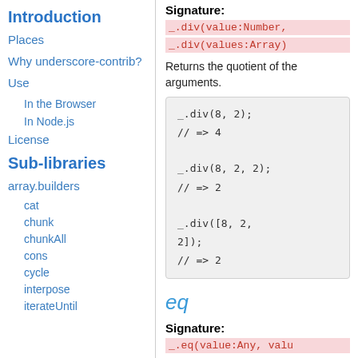Introduction
Places
Why underscore-contrib?
Use
In the Browser
In Node.js
License
Sub-libraries
array.builders
cat
chunk
chunkAll
cons
cycle
interpose
iterateUntil
Signature:
_.div(value:Number,
_.div(values:Array)
Returns the quotient of the arguments.
_.div(8, 2);
// => 4

_.div(8, 2, 2);
// => 2

_.div([8, 2, 2]);
// => 2
eq
Signature:
_.eq(value:Any, valu
Compares the